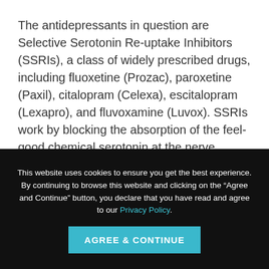The antidepressants in question are Selective Serotonin Re-uptake Inhibitors (SSRIs), a class of widely prescribed drugs, including fluoxetine (Prozac), paroxetine (Paxil), citalopram (Celexa), escitalopram (Lexapro), and fluvoxamine (Luvox). SSRIs work by blocking the absorption of the feel-good chemical serotonin at the nerve
This website uses cookies to ensure you get the best experience. By continuing to browse this website and clicking on the “Agree and Continue” button, you declare that you have read and agree to our Privacy Policy.